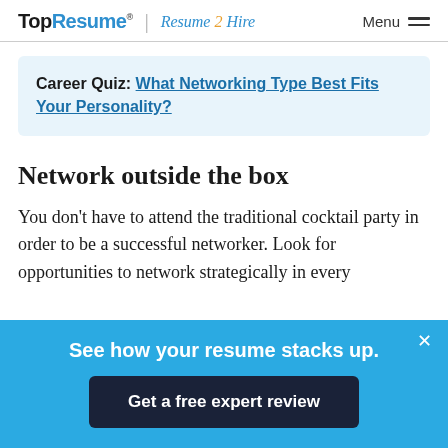TopResume | Resume2Hire   Menu
Career Quiz: What Networking Type Best Fits Your Personality?
Network outside the box
You don't have to attend the traditional cocktail party in order to be a successful networker. Look for opportunities to network strategically in every
See how your resume stacks up.
Get a free expert review